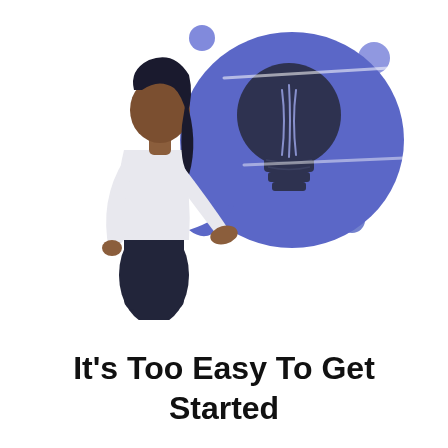[Figure (illustration): A flat-style illustration of a woman from behind, wearing a white long-sleeve top and dark pants, with her right hand extended toward a large blue rounded speech-bubble shape containing a dark lightbulb icon. Several small blue circles float around the speech bubble.]
It's Too Easy To Get Started